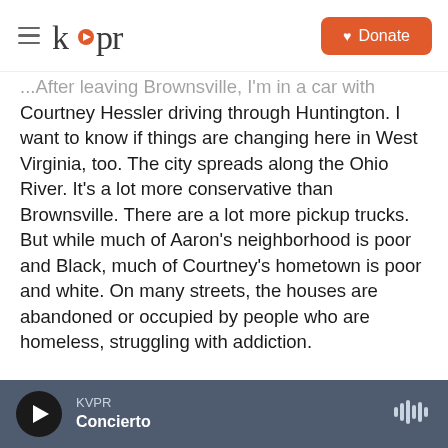KVPR | Donate
...After leaving Brownsville, I'm in a car with Courtney Hessler driving through Huntington. I want to know if things are changing here in West Virginia, too. The city spreads along the Ohio River. It's a lot more conservative than Brownsville. There are a lot more pickup trucks. But while much of Aaron's neighborhood is poor and Black, much of Courtney's hometown is poor and white. On many streets, the houses are abandoned or occupied by people who are homeless, struggling with addiction.
HESSLER: I've covered many homicides on this street.
KVPR | Concierto